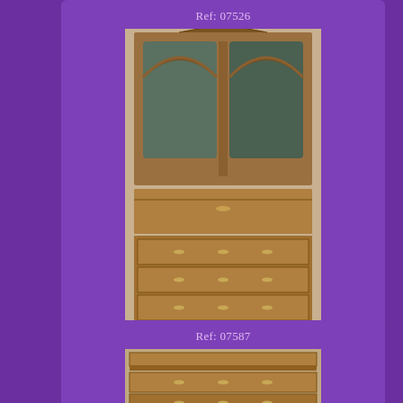Ref: 07526
[Figure (photo): Antique Queen Anne Double Dome Burr Walnut Bureau Bookcase with mirrored arched doors on top and multiple drawers below]
Antique Queen Anne Double Dome Burr Walnut Bureau Bookcase C1720
£8,750.00
Ref: 07587
[Figure (photo): Antique chest or cabinet, partially visible at bottom of page]